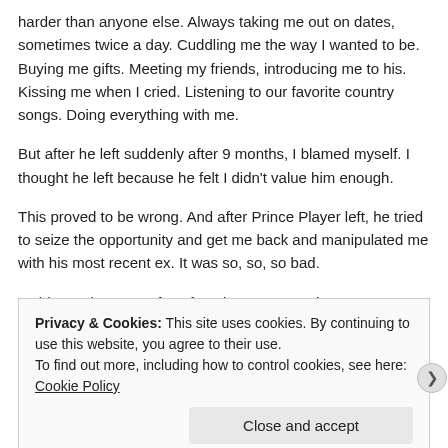harder than anyone else. Always taking me out on dates, sometimes twice a day. Cuddling me the way I wanted to be. Buying me gifts. Meeting my friends, introducing me to his. Kissing me when I cried. Listening to our favorite country songs. Doing everything with me.
But after he left suddenly after 9 months, I blamed myself. I thought he left because he felt I didn't value him enough.
This proved to be wrong. And after Prince Player left, he tried to seize the opportunity and get me back and manipulated me with his most recent ex. It was so, so, so bad.
I told Don then one of my favorite quotes, “When you won’t get rid of
Privacy & Cookies: This site uses cookies. By continuing to use this website, you agree to their use.
To find out more, including how to control cookies, see here: Cookie Policy